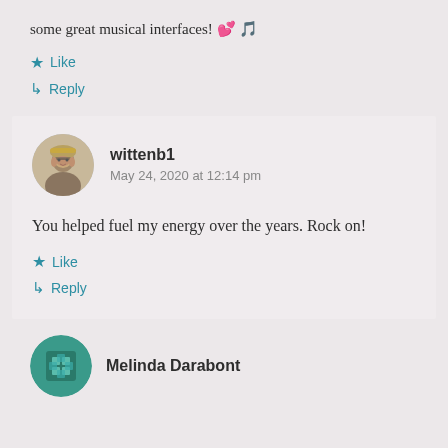some great musical interfaces! 💕🎵
Like
Reply
wittenb1
May 24, 2020 at 12:14 pm
You helped fuel my energy over the years. Rock on!
Like
Reply
Melinda Darabont